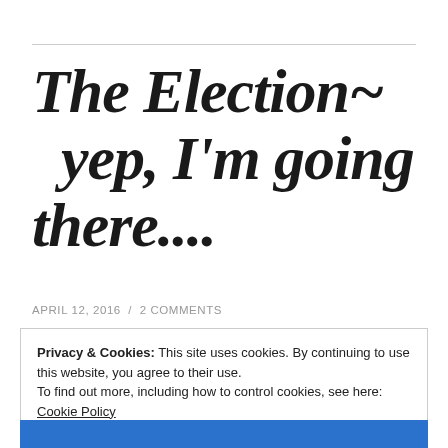The Election~ yep, I'm going there....
APRIL 12, 2016 / 2 COMMENTS
Privacy & Cookies: This site uses cookies. By continuing to use this website, you agree to their use.
To find out more, including how to control cookies, see here: Cookie Policy
Close and accept